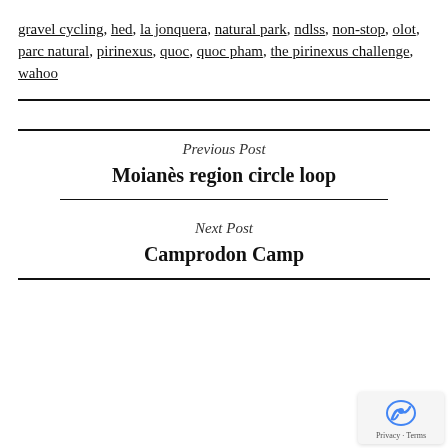gravel cycling, hed, la jonquera, natural park, ndlss, non-stop, olot, parc natural, pirinexus, quoc, quoc pham, the pirinexus challenge, wahoo
Previous Post
Moianès region circle loop
Next Post
Camprodon Camp